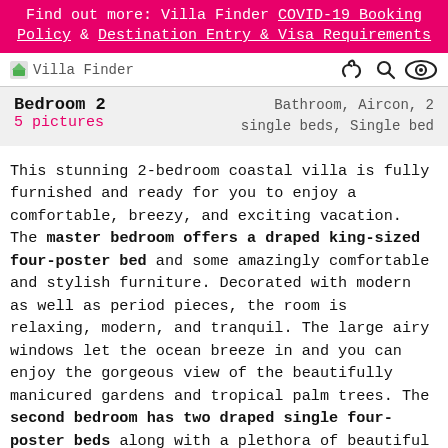Find out more: Villa Finder COVID-19 Booking Policy & Destination Entry & Visa Requirements
[Figure (logo): Villa Finder logo with small image icon and text 'Villa Finder', and icons (phone, search, eye) on the right]
| Bedroom 2
5 pictures | Bathroom, Aircon, 2 single beds, Single bed |
This stunning 2-bedroom coastal villa is fully furnished and ready for you to enjoy a comfortable, breezy, and exciting vacation. The master bedroom offers a draped king-sized four-poster bed and some amazingly comfortable and stylish furniture. Decorated with modern as well as period pieces, the room is relaxing, modern, and tranquil. The large airy windows let the ocean breeze in and you can enjoy the gorgeous view of the beautifully manicured gardens and tropical palm trees. The second bedroom has two draped single four-poster beds along with a plethora of beautiful décor pieces. This bedroom too offers a striking view of the gorgeous greenery all around the villa. Both the bedrooms have an ensuite bathroom that is equipped with sinks, rainfall showers, and any and every amenity that you might need.